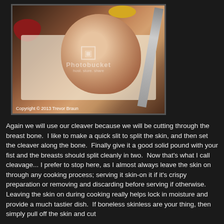[Figure (photo): Photo of raw chicken breast being prepared on a white cutting board, with a large knife visible on the right side, a red bowl on the left, and a yellow item in the upper right background. A Photobucket watermark is overlaid on the image.]
Copyright © 2013 Trevor Braun
Again we will use our cleaver because we will be cutting through the breast bone.  I like to make a quick slit to split the skin, and then set the cleaver along the bone.  Finally give it a good solid pound with your fist and the breasts should split cleanly in two.  Now that's what I call cleavage...  I prefer to stop here, as I almost always leave the skin on through any cooking process; serving it skin-on it if it's crispy preparation or removing and discarding before serving if otherwise.  Leaving the skin on during cooking really helps lock in moisture and provide a much tastier dish.  If boneless skinless are your thing, then simply pull off the skin and cut